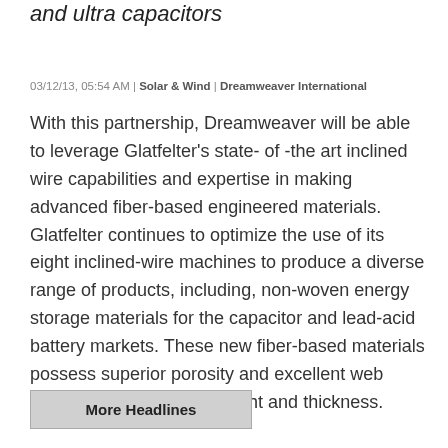and ultra capacitors
03/12/13, 05:54 AM | Solar & Wind | Dreamweaver International
With this partnership, Dreamweaver will be able to leverage Glatfelter's state- of -the art inclined wire capabilities and expertise in making advanced fiber-based engineered materials. Glatfelter continues to optimize the use of its eight inclined-wire machines to produce a diverse range of products, including, non-woven energy storage materials for the capacitor and lead-acid battery markets. These new fiber-based materials possess superior porosity and excellent web uniformity in low basis weight and thickness.
More Headlines